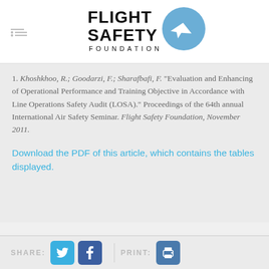[Figure (logo): Flight Safety Foundation logo with stylized airplane icon and text FLIGHT SAFETY FOUNDATION]
1. Khoshkhoo, R.; Goodarzi, F.; Sharafbafi, F. "Evaluation and Enhancing of Operational Performance and Training Objective in Accordance with Line Operations Safety Audit (LOSA)." Proceedings of the 64th annual International Air Safety Seminar. Flight Safety Foundation, November 2011.
Download the PDF of this article, which contains the tables displayed.
SHARE: [Twitter] [Facebook]  |  PRINT: [print icon]